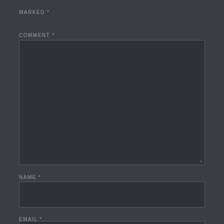marked *
COMMENT *
[Figure (other): Large empty comment textarea input field with dark background and resize handle]
NAME *
[Figure (other): Single-line name input field with dark background]
EMAIL *
[Figure (other): Single-line email input field with dark background, partially visible at bottom]